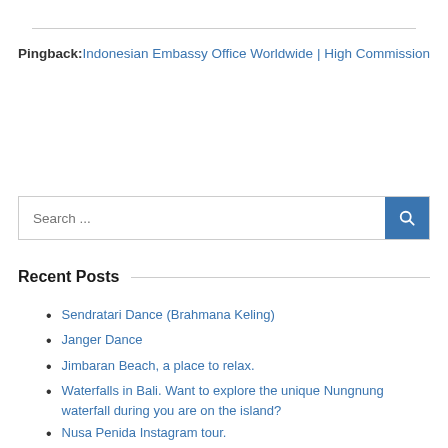Pingback: Indonesian Embassy Office Worldwide | High Commission
Search ...
Recent Posts
Sendratari Dance (Brahmana Keling)
Janger Dance
Jimbaran Beach, a place to relax.
Waterfalls in Bali. Want to explore the unique Nungnung waterfall during you are on the island?
Nusa Penida Instagram tour.